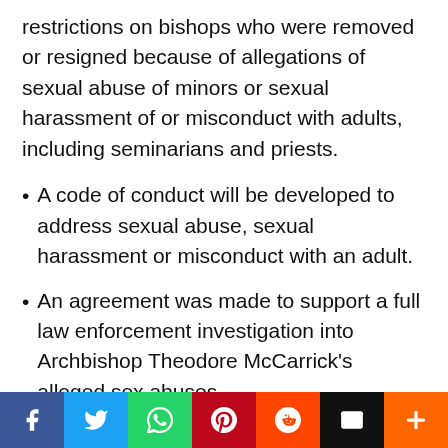restrictions on bishops who were removed or resigned because of allegations of sexual abuse of minors or sexual harassment of or misconduct with adults, including seminarians and priests.
A code of conduct will be developed to address sexual abuse, sexual harassment or misconduct with an adult.
An agreement was made to support a full law enforcement investigation into Archbishop Theodore McCarrick's alleged sex abuses.
“This is only a beginning. Consultation with a broad range of concerned parents, experts, and other laity
Social sharing bar: Facebook, Twitter, WhatsApp, Pinterest, Reddit, Email, Plus